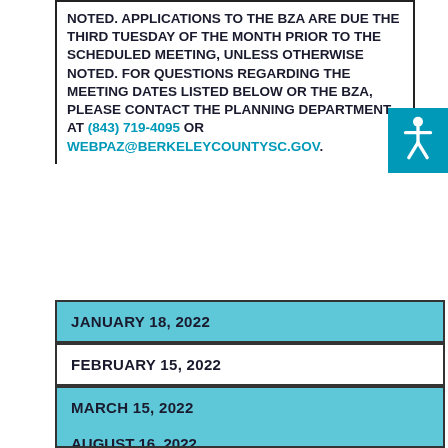NOTED. APPLICATIONS TO THE BZA ARE DUE THE THIRD TUESDAY OF THE MONTH PRIOR TO THE SCHEDULED MEETING, UNLESS OTHERWISE NOTED. FOR QUESTIONS REGARDING THE MEETING DATES LISTED BELOW OR THE BZA, PLEASE CONTACT THE PLANNING DEPARTMENT AT (843) 719-4095 or webpaz@berkeleycountysc.gov.
[Figure (illustration): Accessibility icon - wheelchair symbol in teal square]
JANUARY 18, 2022
FEBRUARY 15, 2022
MARCH 15, 2022
APRIL 19, 2022
MAY 17, 2022
JUNE 21, 2022
JULY 19, 2022
AUGUST 16, 2022